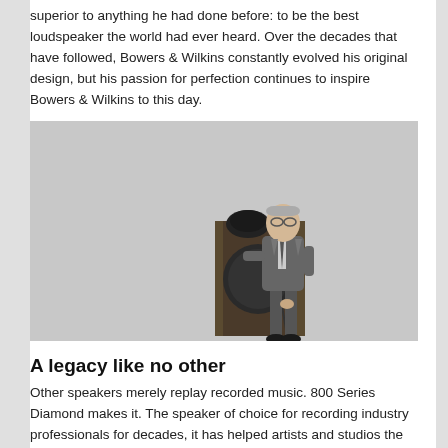superior to anything he had done before: to be the best loudspeaker the world had ever heard. Over the decades that have followed, Bowers & Wilkins constantly evolved his original design, but his passion for perfection continues to inspire Bowers & Wilkins to this day.
[Figure (photo): Black and white photograph of an elderly man in a suit standing next to a large loudspeaker cabinet with a separate tweeter on top.]
A legacy like no other
Other speakers merely replay recorded music. 800 Series Diamond makes it. The speaker of choice for recording industry professionals for decades, it has helped artists and studios the world over to create the music and film soundtracks that have